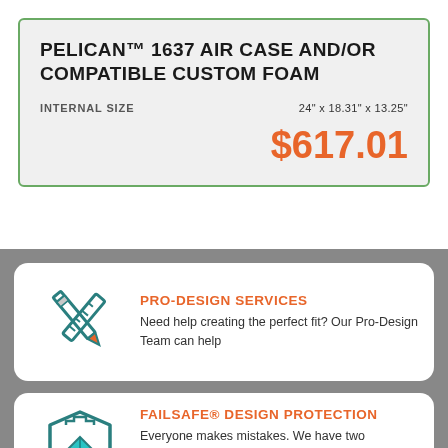PELICAN™ 1637 AIR CASE AND/OR COMPATIBLE CUSTOM FOAM
INTERNAL SIZE   24" x 18.31" x 13.25"
$617.01
PRO-DESIGN SERVICES
Need help creating the perfect fit? Our Pro-Design Team can help
FAILSAFE® DESIGN PROTECTION
Everyone makes mistakes. We have two